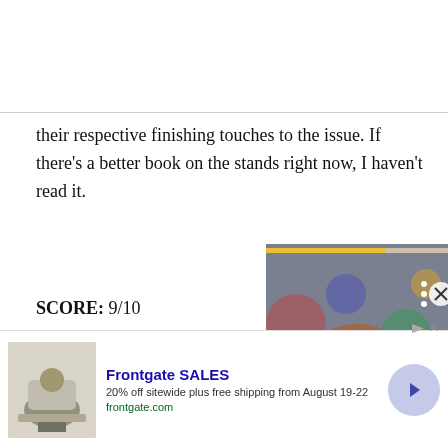their respective finishing touches to the issue. If there's a better book on the stands right now, I haven't read it.
SCORE: 9/10
[Figure (photo): Man wearing sunglasses and a light blue blazer, smiling, with a blurred colorful background. An overlay card with a yellow progress bar at the top, navigation dots and X button, and a yellow circular arrow button is visible.]
[Figure (photo): Background photo partially visible behind the overlay card showing interior scene with artwork.]
Frontgate SALES
20% off sitewide plus free shipping from August 19-22
frontgate.com